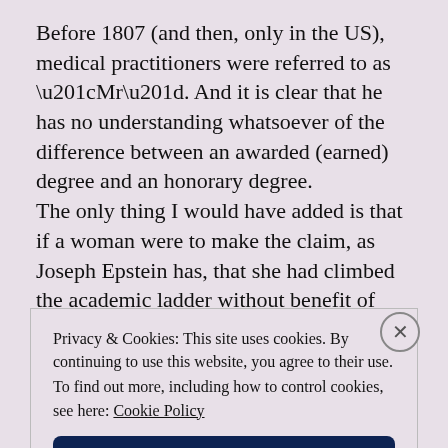Before 1807 (and then, only in the US), medical practitioners were referred to as “Mr”. And it is clear that he has no understanding whatsoever of the difference between an awarded (earned) degree and an honorary degree.
The only thing I would have added is that if a woman were to make the claim, as Joseph Epstein has, that she had climbed the academic ladder without benefit of higher degrees, many someones would ask who she
Privacy & Cookies: This site uses cookies. By continuing to use this website, you agree to their use.
To find out more, including how to control cookies, see here: Cookie Policy
Close and accept